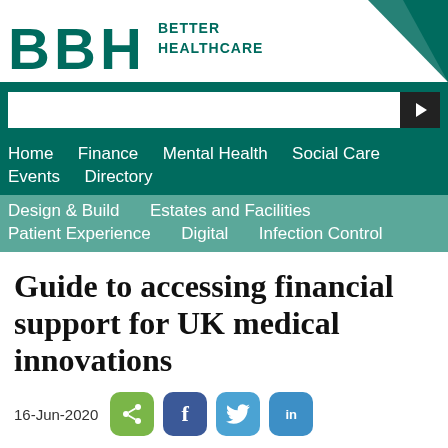[Figure (logo): BBH Better Healthcare logo with dark green letters and triangle decorations]
[Figure (screenshot): Search bar with arrow button on dark green background]
Home  Finance  Mental Health  Social Care  Events  Directory
Design & Build  Estates and Facilities  Patient Experience  Digital  Infection Control
Guide to accessing financial support for UK medical innovations
16-Jun-2020